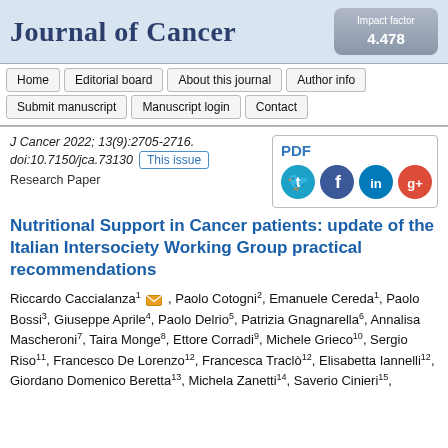Journal of Cancer | Impact factor 4.478
Home | Editorial board | About this journal | Author info | Submit manuscript | Manuscript login | Contact
J Cancer 2022; 13(9):2705-2716. doi:10.7150/jca.73130  This issue
Research Paper
Nutritional Support in Cancer patients: update of the Italian Intersociety Working Group practical recommendations
Riccardo Caccialanza1, Paolo Cotogni2, Emanuele Cereda1, Paolo Bossi3, Giuseppe Aprile4, Paolo Delrio5, Patrizia Gnagnarella6, Annalisa Mascheroni7, Taira Monge8, Ettore Corradi9, Michele Grieco10, Sergio Riso11, Francesco De Lorenzo12, Francesca Traclò12, Elisabetta Iannelli12, Giordano Domenico Beretta13, Michela Zanetti14, Saverio Cinieri15,